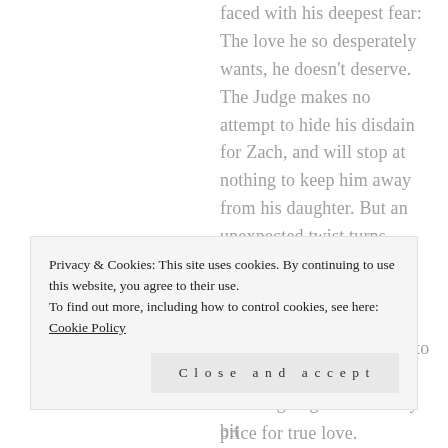faced with his deepest fear: The love he so desperately wants, he doesn't deserve. The Judge makes no attempt to hide his disdain for Zach, and will stop at nothing to keep him away from his daughter. But an unexpected twist turns everyone's plans upside down and no one's world will ever be the same. Outside forces attempting to pull them apart are strong and it's going to take every bit of Zach's determination and courage to pay the price for true love.
Privacy & Cookies: This site uses cookies. By continuing to use this website, you agree to their use. To find out more, including how to control cookies, see here: Cookie Policy
Close and accept